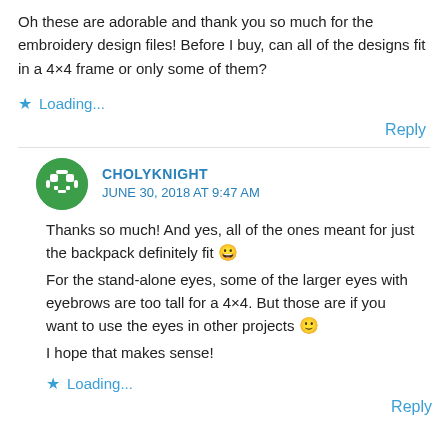Oh these are adorable and thank you so much for the embroidery design files! Before I buy, can all of the designs fit in a 4×4 frame or only some of them?
Loading...
Reply
CHOLYKNIGHT
JUNE 30, 2018 AT 9:47 AM
Thanks so much! And yes, all of the ones meant for just the backpack definitely fit 😀
For the stand-alone eyes, some of the larger eyes with eyebrows are too tall for a 4×4. But those are if you want to use the eyes in other projects 🙂
I hope that makes sense!
Loading...
Reply